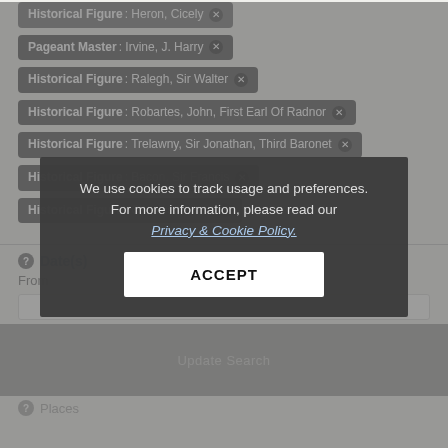Historical Figure: Heron, Cicely
Pageant Master: Irvine, J. Harry
Historical Figure: Ralegh, Sir Walter
Historical Figure: Robartes, John, First Earl Of Radnor
Historical Figure: Trelawny, Sir Jonathan, Third Baronet
Historical Figure: Bacon, Sir Francis
Historical Figure: Cassivellaunus
Date(s)
From
We use cookies to track usage and preferences. For more information, please read our Privacy & Cookie Policy.
ACCEPT